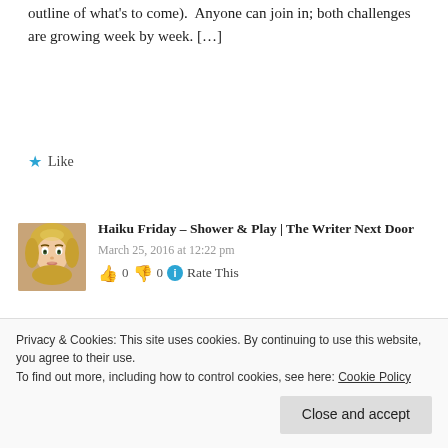outline of what's to come).  Anyone can join in; both challenges are growing week by week. […]
Like
Haiku Friday – Shower & Play | The Writer Next Door
March 25, 2016 at 12:22 pm
👍 0 👎 0 ℹ Rate This
[…] also does author interviews and
Privacy & Cookies: This site uses cookies. By continuing to use this website, you agree to their use.
To find out more, including how to control cookies, see here: Cookie Policy
Close and accept